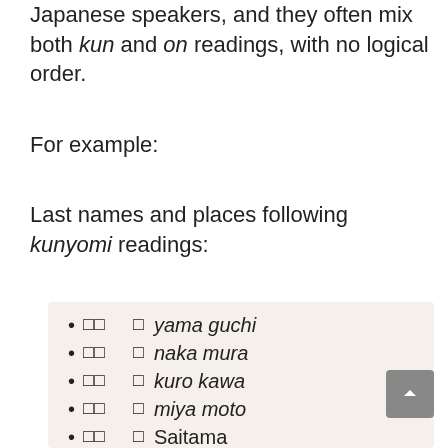difficult to interpret, even for native Japanese speakers, and they often mix both kun and on readings, with no logical order.
For example:
Last names and places following kunyomi readings:
□□ □ yama guchi
□□ □ naka mura
□□ □ kuro kawa
□□ □ miya moto
□□ □ Saitama